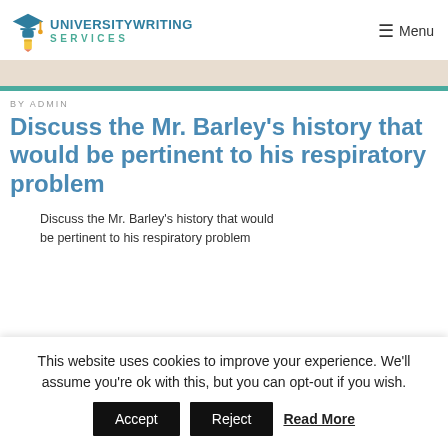[Figure (logo): University Writing Services logo with graduation cap icon, teal and blue text]
≡ Menu
Discuss the Mr. Barley's history that would be pertinent to his respiratory problem
BY ADMIN
Discuss the Mr. Barley's history that would be pertinent to his respiratory problem
This website uses cookies to improve your experience. We'll assume you're ok with this, but you can opt-out if you wish.